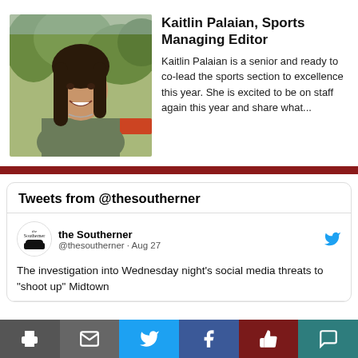[Figure (photo): Headshot photo of Kaitlin Palaian, a young woman with long dark hair, smiling, wearing a grey-green top, outdoors with trees in background.]
Kaitlin Palaian, Sports Managing Editor
Kaitlin Palaian is a senior and ready to co-lead the sports section to excellence this year. She is excited to be on staff again this year and share what...
[Figure (screenshot): Twitter/X widget showing Tweets from @thesoutherner. Tweet from 'the Southerner' @thesoutherner · Aug 27: 'The investigation into Wednesday night's social media threats to "shoot up" Midtown']
Print | Email | Twitter | Facebook | Like | Comment